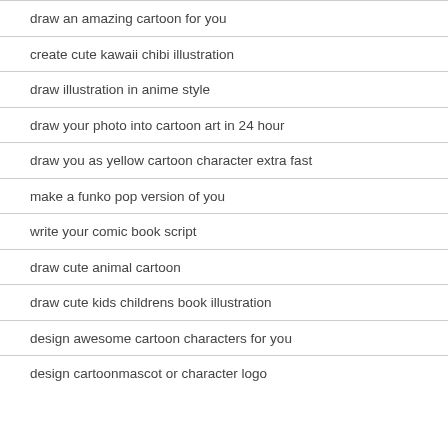draw an amazing cartoon for you
create cute kawaii chibi illustration
draw illustration in anime style
draw your photo into cartoon art in 24 hour
draw you as yellow cartoon character extra fast
make a funko pop version of you
write your comic book script
draw cute animal cartoon
draw cute kids childrens book illustration
design awesome cartoon characters for you
design cartoonmascot or character logo